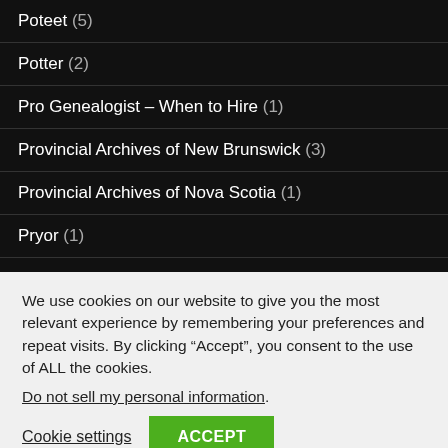Poteet (5)
Potter (2)
Pro Genealogist – When to Hire (1)
Provincial Archives of New Brunswick (3)
Provincial Archives of Nova Scotia (1)
Pryor (1)
Public Profiler (1)
We use cookies on our website to give you the most relevant experience by remembering your preferences and repeat visits. By clicking “Accept”, you consent to the use of ALL the cookies.
Do not sell my personal information.
Cookie settings   ACCEPT